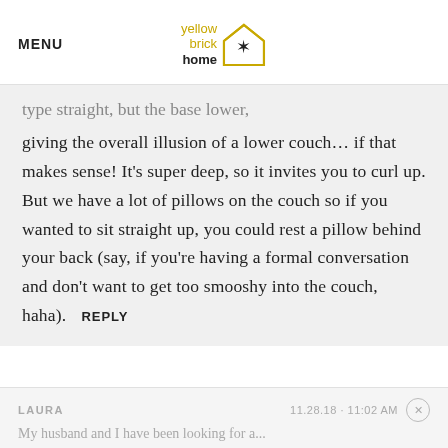MENU | yellow brick home logo
type straight, but the base lower, giving the overall illusion of a lower couch… if that makes sense! It's super deep, so it invites you to curl up. But we have a lot of pillows on the couch so if you wanted to sit straight up, you could rest a pillow behind your back (say, if you're having a formal conversation and don't want to get too smooshy into the couch, haha). REPLY
LAURA   11.28.18 · 11:02 AM
My husband and I have been looking for a...